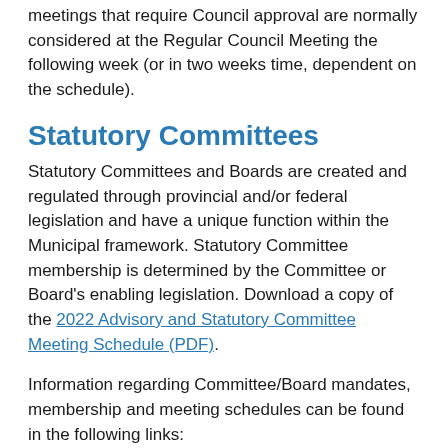meetings that require Council approval are normally considered at the Regular Council Meeting the following week (or in two weeks time, dependent on the schedule).
Statutory Committees
Statutory Committees and Boards are created and regulated through provincial and/or federal legislation and have a unique function within the Municipal framework. Statutory Committee membership is determined by the Committee or Board's enabling legislation. Download a copy of the 2022 Advisory and Statutory Committee Meeting Schedule (PDF).
Information regarding Committee/Board mandates, membership and meeting schedules can be found in the following links:
Board of Variance